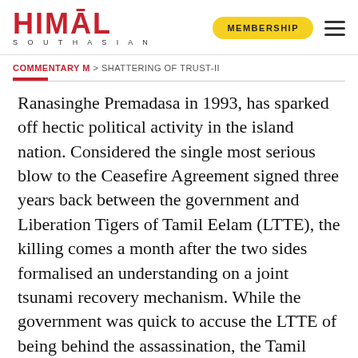HIMAL SOUTHASIAN — MEMBERSHIP
COMMENTARY M > SHATTERING OF TRUST-II
Ranasinghe Premadasa in 1993, has sparked off hectic political activity in the island nation. Considered the single most serious blow to the Ceasefire Agreement signed three years back between the government and Liberation Tigers of Tamil Eelam (LTTE), the killing comes a month after the two sides formalised an understanding on a joint tsunami recovery mechanism. While the government was quick to accuse the LTTE of being behind the assassination, the Tamil rebels, for their part, denied any involvement in the